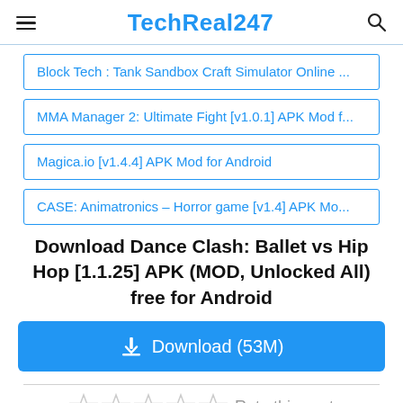TechReal247
Block Tech : Tank Sandbox Craft Simulator Online ...
MMA Manager 2: Ultimate Fight [v1.0.1] APK Mod f...
Magica.io [v1.4.4] APK Mod for Android
CASE: Animatronics – Horror game [v1.4] APK Mo...
Download Dance Clash: Ballet vs Hip Hop [1.1.25] APK (MOD, Unlocked All) free for Android
Download (53M)
Rate this post